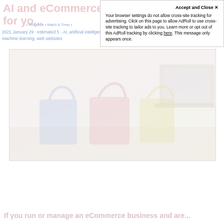AI and eCommerce: AI for yo...
Accept and Close ×
Your browser settings do not allow cross-site tracking for advertising. Click on this page to allow AdRoll to use cross-site tracking to tailor ads to you. Learn more or opt out of this AdRoll tracking by clicking here. This message only appears once.
2021 January 29 · estimated 5 AI, artificial intelligence, ecommerce, machine learning, web websites
[Figure (photo): A faded, washed-out photo showing colorful shopping bags (blue, red, yellow) in the foreground with a laptop visible in the background, suggesting an eCommerce theme.]
If you run or manage an eCommerce business and are...